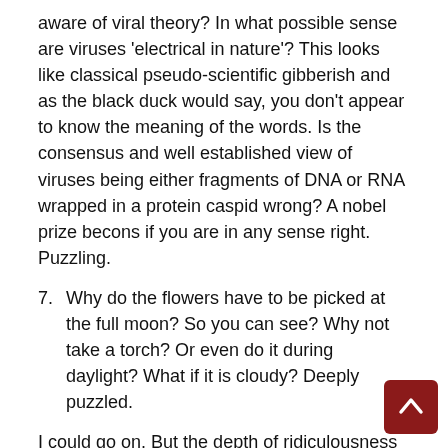aware of viral theory? In what possible sense are viruses 'electrical in nature'? This looks like classical pseudo-scientific gibberish and as the black duck would say, you don't appear to know the meaning of the words. Is the consensus and well established view of viruses being either fragments of DNA or RNA wrapped in a protein caspid wrong? A nobel prize becons if you are in any sense right. Puzzling.
7. Why do the flowers have to be picked at the full moon? So you can see? Why not take a torch? Or even do it during daylight? What if it is cloudy? Deeply puzzled.
I could go on. But the depth of ridiculousness is far too much for one blog. Next time perhaps...
I will end on an odd observation. Diana Mossop (I shall drop the titles for now until I get my answers) claims to have helped supermodel Jodie Kidd through a bit of a crisis. Great. Good Stuff. But didn't my last suspect Professor, the Distinguished Professor of the Royal College of Alternative Medicine...